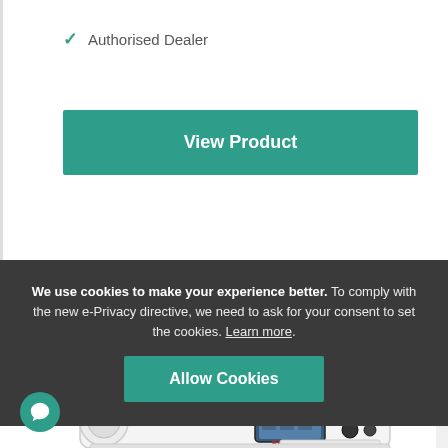✓ Authorised Dealer
View Product
We use cookies to make your experience better. To comply with the new e-Privacy directive, we need to ask for your consent to set the cookies. Learn more.
Allow Cookies
Bernina 475 Qf Sewing Machine
[Figure (photo): Bernina 475 QF sewing machine, white with digital touchscreen display, visible from a front-right angle. BERNINA logo in red on the front panel.]